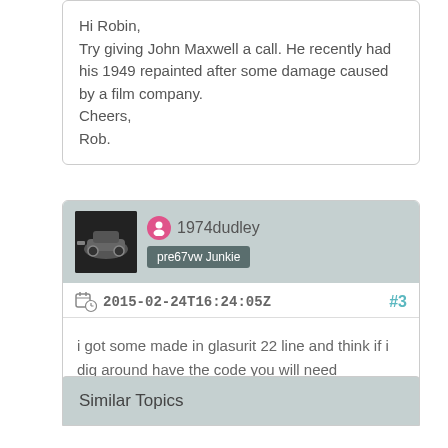Hi Robin,
Try giving John Maxwell a call. He recently had his 1949 repainted after some damage caused by a film company.
Cheers,
Rob.
1974dudley
pre67vw Junkie
2015-02-24T16:24:05Z #3
i got some made in glasurit 22 line and think if i dig around have the code you will need
Similar Topics